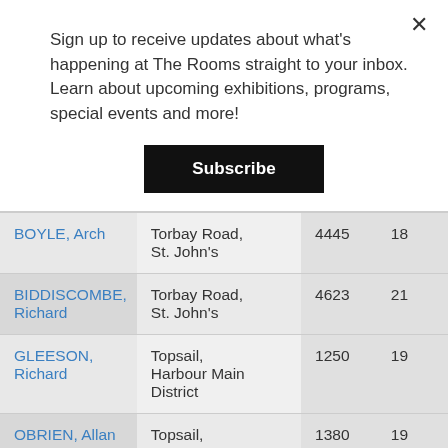Sign up to receive updates about what's happening at The Rooms straight to your inbox. Learn about upcoming exhibitions, programs, special events and more!
Subscribe
| Name | Address | Number | District |
| --- | --- | --- | --- |
| BOYLE, Arch | Torbay Road, St. John's | 4445 | 18 |
| BIDDISCOMBE, Richard | Torbay Road, St. John's | 4623 | 21 |
| GLEESON, Richard | Topsail, Harbour Main District | 1250 | 19 |
| OBRIEN, Allan | Topsail, | 1380 | 19 |